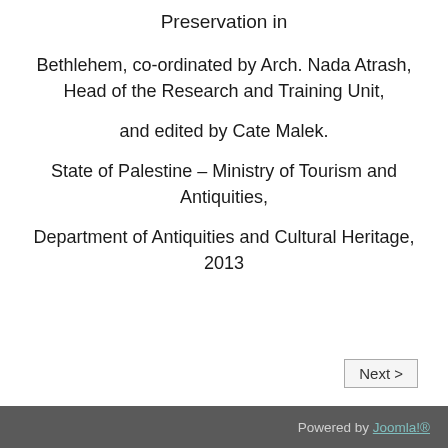Preservation in
Bethlehem, co-ordinated by Arch. Nada Atrash, Head of the Research and Training Unit,
and edited by Cate Malek.
State of Palestine – Ministry of Tourism and Antiquities,
Department of Antiquities and Cultural Heritage, 2013
Next >
Powered by Joomla!®